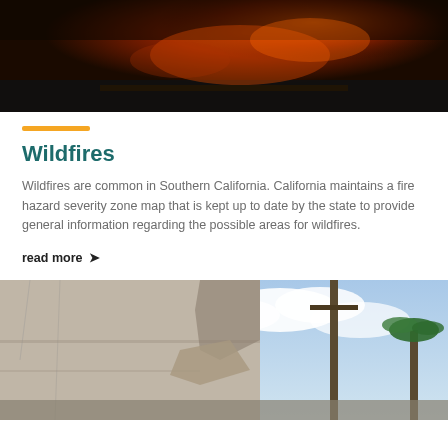[Figure (photo): Dark dramatic wildfire photo showing orange glowing fire and smoke in the distance over a road or landscape]
Wildfires
Wildfires are common in Southern California. California maintains a fire hazard severity zone map that is kept up to date by the state to provide general information regarding the possible areas for wildfires.
read more ❯
[Figure (photo): Earthquake damage photo showing a damaged building with broken wall, utility poles, palm trees, and blue cloudy sky]